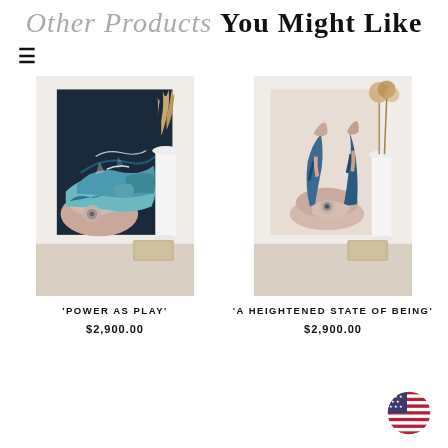Other Products You Might Like
[Figure (photo): Painting titled 'Power As Play' showing abstract female figure in blues and pinks on dark background, displayed on easel with white vase and dried grasses]
'POWER AS PLAY'
$2,900.00
[Figure (photo): Painting titled 'A Heightened State Of Being' showing abstract female figure in blues and pinks on light background, displayed on easel with white vase and dried grasses]
'A HEIGHTENED STATE OF BEING'
$2,900.00
[Figure (illustration): US flag circular badge/icon in bottom right corner]